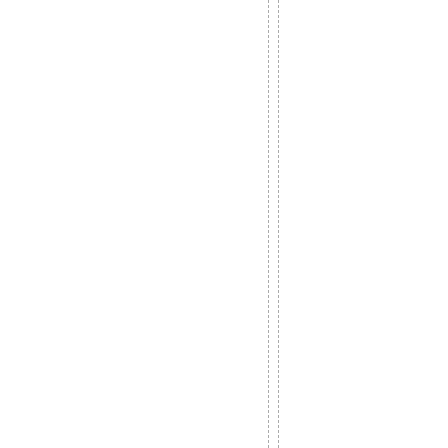ption/decryptionprocessistrans